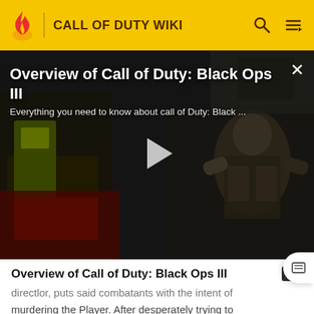CALL OF DUTY WIKI
[Figure (screenshot): Video thumbnail showing Call of Duty: Black Ops III gameplay with a soldier in tactical gear. Title overlay reads 'Overview of Call of Duty: Black Ops III'. Subtitle: 'Everything you need to know about call of Duty: Black ...' A play button is centered on the image. A close (X) button is in the top right.]
Overview of Call of Duty: Black Ops III
...directlor, puts said combatants with the intent of murdering the Player. After desperately trying to convince Taylor that he is not himself, the Player manages to get through to him briefly as Taylor regains